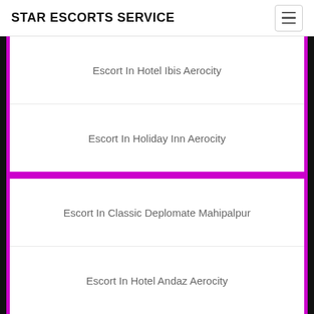STAR ESCORTS SERVICE
Escort In Hotel Ibis Aerocity
Escort In Holiday Inn Aerocity
Escort In Classic Deplomate Mahipalpur
Escort In Hotel Andaz Aerocity